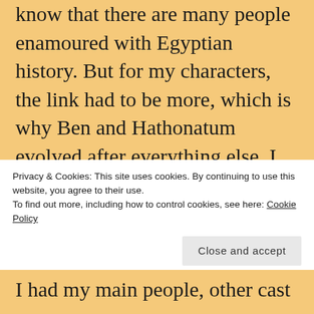know that there are many people enamoured with Egyptian history. But for my characters, the link had to be more, which is why Ben and Hathonatum evolved after everything else. I had to answer the question of, who would live where, and what kind of strong connection they'd have with Egypt. I live in the Lickey Hills, so I wanted at least one of my...
Privacy & Cookies: This site uses cookies. By continuing to use this website, you agree to their use.
To find out more, including how to control cookies, see here: Cookie Policy
Close and accept
I had my main people, other cast